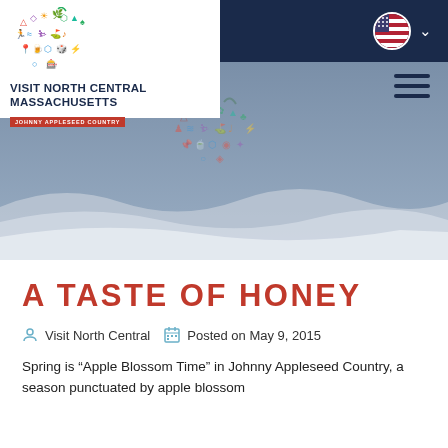[Figure (screenshot): Visit North Central Massachusetts website header with logo (apple-shaped icon made of colorful activity symbols), navigation bar with US flag and dropdown, hamburger menu, and hero banner with watermark logo and wave design]
A TASTE OF HONEY
Visit North Central   Posted on May 9, 2015
Spring is "Apple Blossom Time" in Johnny Appleseed Country, a season punctuated by apple blossom